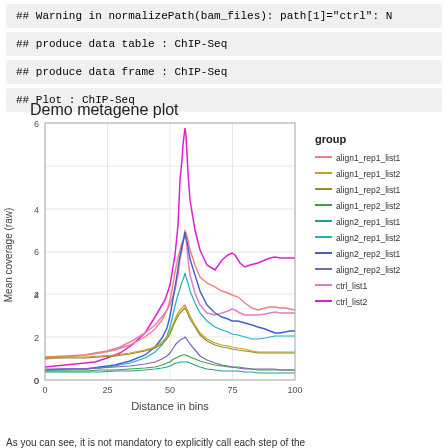## Warning in normalizePath(bam_files): path[1]="ctrl": N
## produce data table : ChIP-Seq
## produce data frame : ChIP-Seq
## Plot : ChIP-Seq
[Figure (line-chart): Demo metagene plot]
As you can see, it is not mandatory to explicitly call each step of the